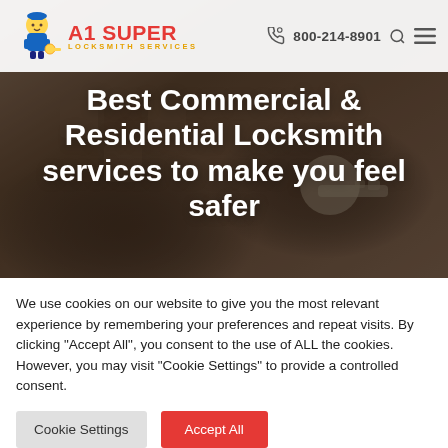A1 Super Locksmith Services — 800-214-8901
[Figure (screenshot): Hero image with keys and lock in dark sepia/brown tone background]
Best Commercial & Residential Locksmith services to make you feel safer
We use cookies on our website to give you the most relevant experience by remembering your preferences and repeat visits. By clicking "Accept All", you consent to the use of ALL the cookies. However, you may visit "Cookie Settings" to provide a controlled consent.
Cookie Settings | Accept All